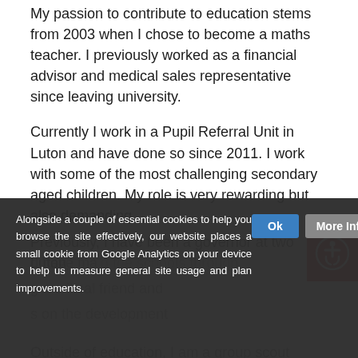My passion to contribute to education stems from 2003 when I chose to become a maths teacher. I previously worked as a financial advisor and medical sales representative since leaving university.
Currently I work in a Pupil Referral Unit in Luton and have done so since 2011. I work with some of the most challenging secondary aged children. My role is very rewarding but also demanding.
Previously, I have been a governor at two Luton [schools and have ma...] [g the schools through...] [g a critical friend and...] [s on the development...]
[Figure (other): Accessibility icon button — red background with white person-in-circle (wheelchair user) icon]
Alongside a couple of essential cookies to help you browse the site effectively, our website places a small cookie from Google Analytics on your device to help us measure general site usage and plan improvements.
Outside of education, I am a group scout leader for [...]